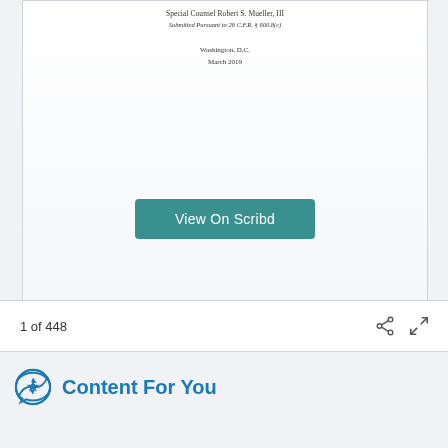Special Counsel Robert S. Mueller, III
Submitted Pursuant to 28 C.F.R. § 600.8(c)
Washington, D.C.
March 2019
[Figure (screenshot): View On Scribd button — teal/green rounded rectangle]
1 of 448
Content For You